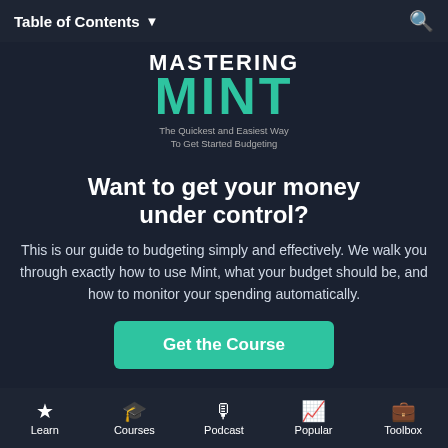Table of Contents
[Figure (logo): Mastering Mint logo with text 'The Quickest and Easiest Way To Get Started Budgeting']
Want to get your money under control?
This is our guide to budgeting simply and effectively. We walk you through exactly how to use Mint, what your budget should be, and how to monitor your spending automatically.
Get the Course
Learn | Courses | Podcast | Popular | Toolbox